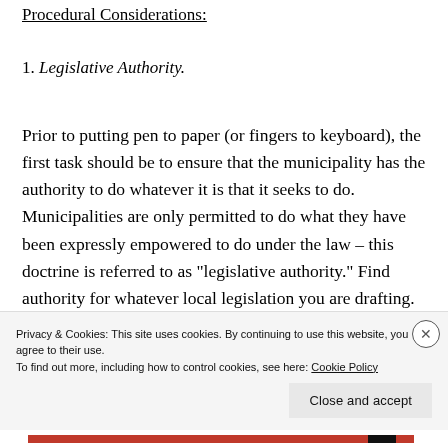Procedural Considerations:
1. Legislative Authority.
Prior to putting pen to paper (or fingers to keyboard), the first task should be to ensure that the municipality has the authority to do whatever it is that it seeks to do. Municipalities are only permitted to do what they have been expressly empowered to do under the law – this doctrine is referred to as “legislative authority.” Find authority for whatever local legislation you are drafting.
Privacy & Cookies: This site uses cookies. By continuing to use this website, you agree to their use. To find out more, including how to control cookies, see here: Cookie Policy
Close and accept